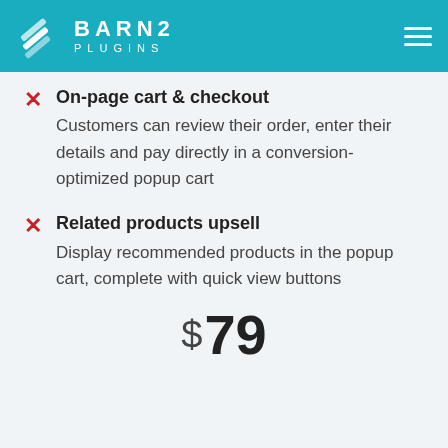BARN2 PLUGINS
On-page cart & checkout — Customers can review their order, enter their details and pay directly in a conversion-optimized popup cart
Related products upsell — Display recommended products in the popup cart, complete with quick view buttons
$79